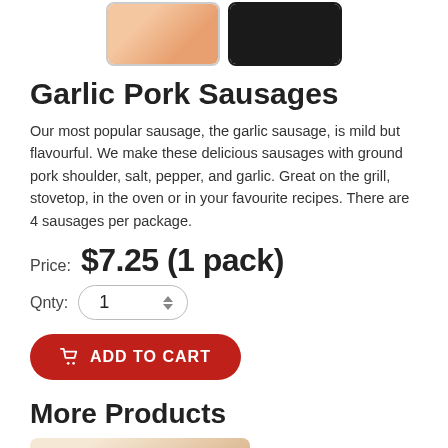[Figure (photo): Two product thumbnail images of garlic pork sausages — one light-colored showing sausages, one dark background]
Garlic Pork Sausages
Our most popular sausage, the garlic sausage, is mild but flavourful. We make these delicious sausages with ground pork shoulder, salt, pepper, and garlic. Great on the grill, stovetop, in the oven or in your favourite recipes. There are 4 sausages per package.
Price:  $7.25 (1 pack)
Qnty:  1
ADD TO CART
More Products
[Figure (photo): Product thumbnail showing sausages with TB badge/logo]